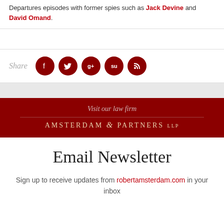Departures episodes with former spies such as Jack Devine and David Omand.
Share
[Figure (infographic): Social media share icons: Facebook, Twitter, Google+, StumbleUpon, RSS — dark red circular buttons]
Visit our law firm
AMSTERDAM & PARTNERS LLP
Email Newsletter
Sign up to receive updates from robertamsterdam.com in your inbox